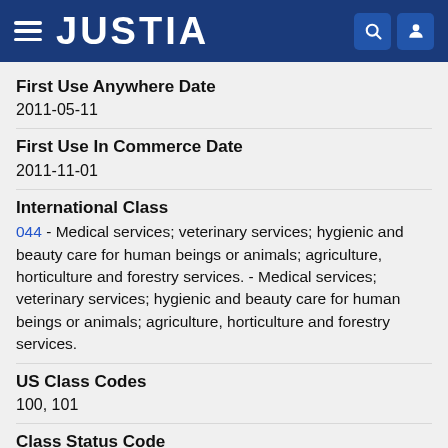JUSTIA
First Use Anywhere Date
2011-05-11
First Use In Commerce Date
2011-11-01
International Class
044 - Medical services; veterinary services; hygienic and beauty care for human beings or animals; agriculture, horticulture and forestry services. - Medical services; veterinary services; hygienic and beauty care for human beings or animals; agriculture, horticulture and forestry services.
US Class Codes
100, 101
Class Status Code